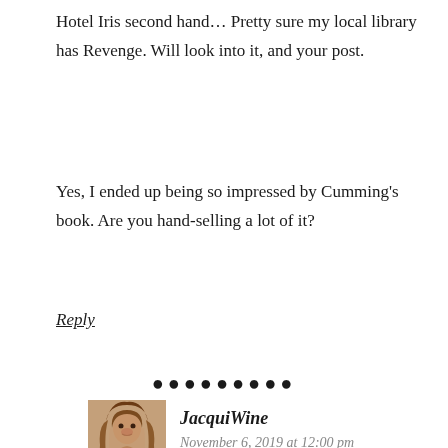Hotel Iris second hand… Pretty sure my local library has Revenge. Will look into it, and your post.
Yes, I ended up being so impressed by Cumming's book. Are you hand-selling a lot of it?
Reply
[Figure (other): Row of decorative dots used as a section separator]
[Figure (photo): Avatar image of JacquiWine — illustrated portrait of a woman with long hair]
JacquiWine
November 6, 2019 at 12:00 pm